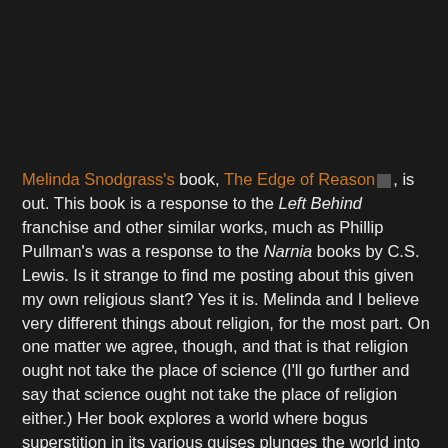Melinda Snodgrass's book, The Edge of Reason [link], is out. This book is a response to the Left Behind franchise and other similar works, much as Phillip Pullman's was a response to the Narnia books by C.S. Lewis. Is it strange to find me posting about this given my own religious slant? Yes it is. Melinda and I believe very different things about religion, for the most part. On one matter we agree, though, and that is that religion ought not take the place of science (I'll go further and say that science ought not take the place of religion either.) Her book explores a world where bogus superstition in its various guises plunges the world into a very dangerous kind of chaos.